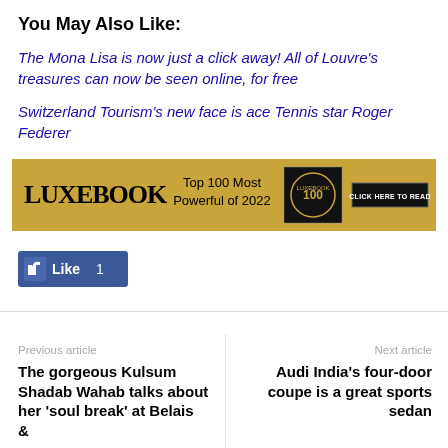You May Also Like:
The Mona Lisa is now just a click away! All of Louvre’s treasures can now be seen online, for free
Switzerland Tourism’s new face is ace Tennis star Roger Federer
[Figure (infographic): LUXEBOOK advertisement banner with gold background. Text reads: Top 100 Most Powerful of 2022. Includes a dark badge image and a CLICK HERE TO READ button.]
[Figure (infographic): Facebook Like button showing thumbs up icon and Like 1 count on blue background.]
Previous article
The gorgeous Kulsum Shadab Wahab talks about her ‘soul break’ at Belais &
Next article
Audi India’s four-door coupe is a great sports sedan